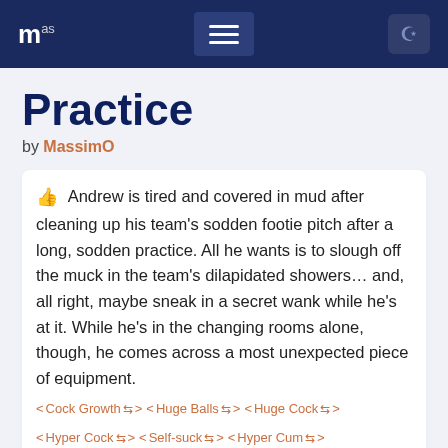m [hamburger menu] [moon icon]
Practice
by MassimO
Andrew is tired and covered in mud after cleaning up his team's sodden footie pitch after a long, sodden practice. All he wants is to slough off the muck in the team's dilapidated showers… and, all right, maybe sneak in a secret wank while he's at it. While he's in the changing rooms alone, though, he comes across a most unexpected piece of equipment.
< Cock Growth > < Huge Balls > < Huge Cock > < Hyper Cock > < Self-suck > < Hyper Cum >